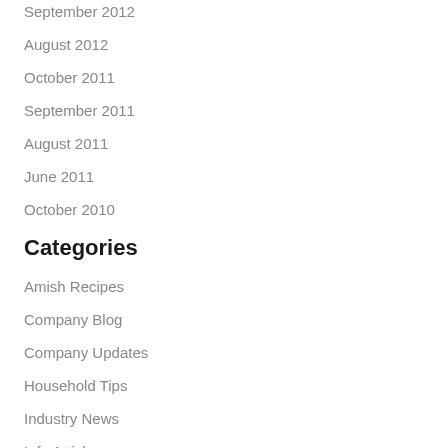September 2012
August 2012
October 2011
September 2011
August 2011
June 2011
October 2010
Categories
Amish Recipes
Company Blog
Company Updates
Household Tips
Industry News
Info Article